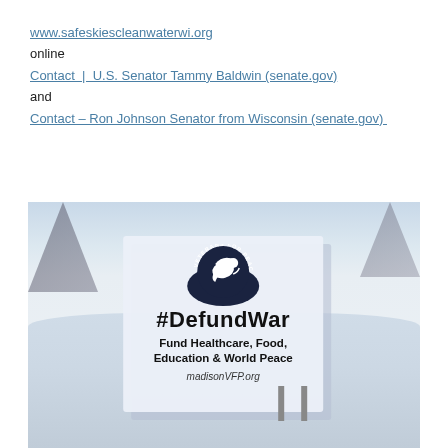www.safeskiescleanwaterwi.org
online
Contact | U.S. Senator Tammy Baldwin (senate.gov)
and
Contact – Ron Johnson Senator from Wisconsin (senate.gov)
[Figure (photo): A yard sign in snowy conditions displaying the Veterans for Peace logo and the text '#DefundWar Fund Healthcare, Food, Education & World Peace madisonVFP.org']